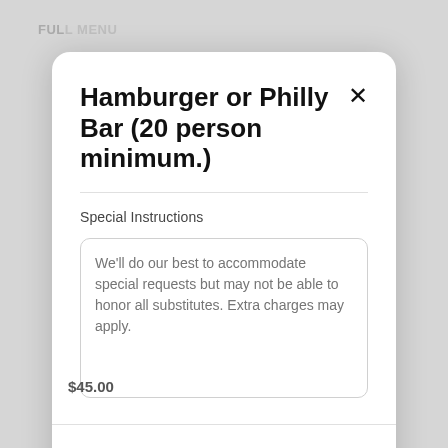Hamburger or Philly Bar (20 person minimum.)
Special Instructions
We'll do our best to accommodate special requests but may not be able to honor all substitutes. Extra charges may apply.
Add to Cart  $320.00